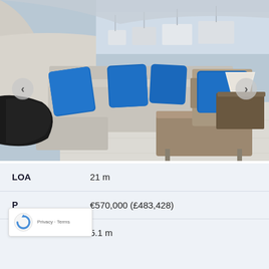[Figure (photo): Interior photo of a luxury yacht salon showing beige/gray upholstered sofa with blue throw pillows, wooden armchair with blue cushion, wooden coffee table/ottoman, a table lamp, and marina with other boats visible through windows in the background. Navigation arrows (< and >) visible on left and right sides of the image.]
| LOA | 21 m |
| P | €570,000 (£483,428) |
| Beam | 5.1 m |